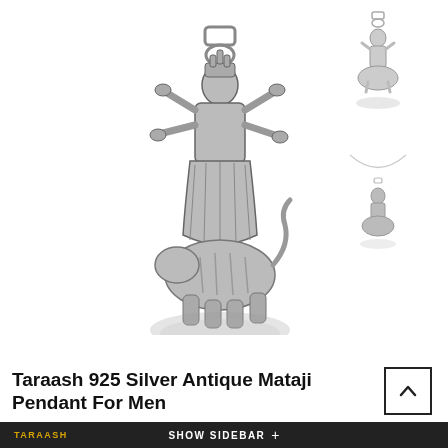[Figure (photo): Main product image: Taraash 925 Silver Antique Mataji Pendant - a silver deity pendant showing goddess Durga seated on a lion/tiger, with silver bail/hook at top, antique finish, with shadow reflection below]
[Figure (photo): Thumbnail 1: Small top view of the Mataji pendant alone on white background]
[Figure (photo): Thumbnail 2: Small image of the Mataji pendant shown on a necklace chain]
Taraash 925 Silver Antique Mataji Pendant For Men
TARAASH   SHOW SIDEBAR +